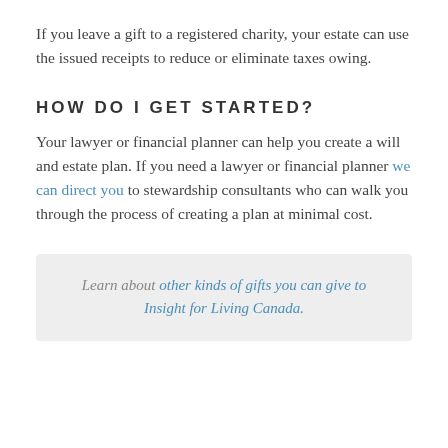If you leave a gift to a registered charity, your estate can use the issued receipts to reduce or eliminate taxes owing.
HOW DO I GET STARTED?
Your lawyer or financial planner can help you create a will and estate plan. If you need a lawyer or financial planner we can direct you to stewardship consultants who can walk you through the process of creating a plan at minimal cost.
Learn about other kinds of gifts you can give to Insight for Living Canada.